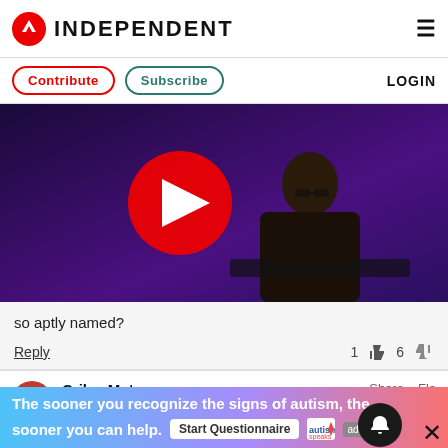INDEPENDENT
Contribute  Subscribe  LOGIN
[Figure (screenshot): Video player showing a man in glasses on a purple background with a large red play button overlay]
so aptly named?
Reply  1 👍 6 👎
CrikeyMate  Share  Flag
The sooner you recognize the signs of autism, the sooner you can help. Start Questionnaire  autism speaks  ad